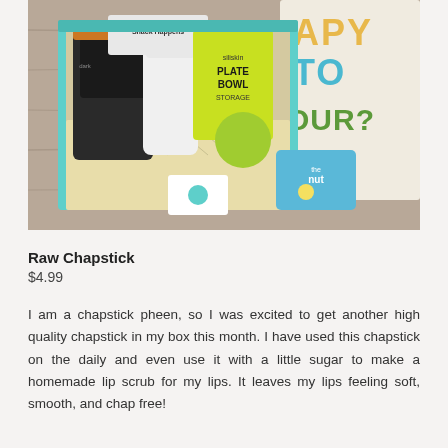[Figure (photo): Open teal subscription box containing various products including Snack Happens snack bag, siliskin plate/bowl/storage item, dark colored snack packet, and other items, placed on a wooden surface next to a colorful tote bag reading 'HAPPY HOUR?' and a blue package labeled 'the nut'.]
Raw Chapstick
$4.99
I am a chapstick pheen, so I was excited to get another high quality chapstick in my box this month. I have used this chapstick on the daily and even use it with a little sugar to make a homemade lip scrub for my lips. It leaves my lips feeling soft, smooth, and chap free!